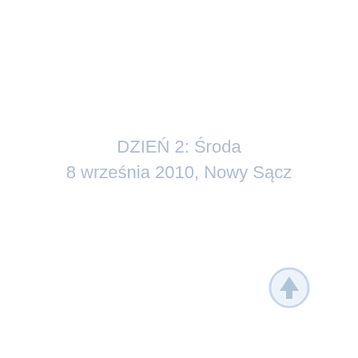DZIEŃ 2: Środa
8 września 2010, Nowy Sącz
[Figure (other): Light blue circle with an upward-pointing arrow inside, navigation icon]